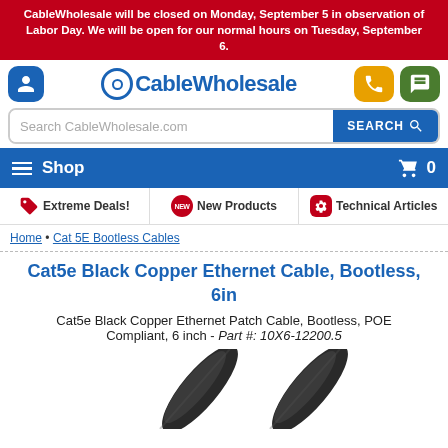CableWholesale will be closed on Monday, September 5 in observation of Labor Day. We will be open for our normal hours on Tuesday, September 6.
[Figure (logo): CableWholesale logo with circular icon and blue text]
[Figure (screenshot): Search bar and navigation elements including Shop button, cart, Extreme Deals, New Products, Technical Articles tabs]
Home • Cat 5E Bootless Cables
Cat5e Black Copper Ethernet Cable, Bootless, 6in
Cat5e Black Copper Ethernet Patch Cable, Bootless, POE Compliant, 6 inch - Part #: 10X6-12200.5
[Figure (photo): Photo of black Cat5e ethernet cables, bootless, shown at angle]